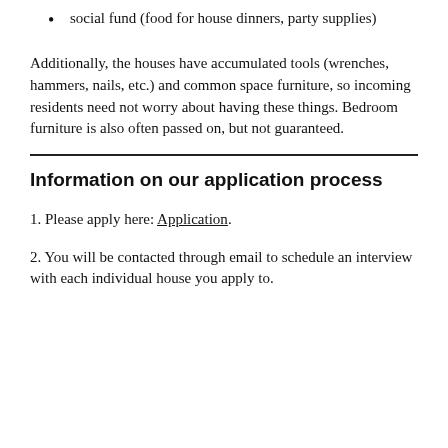social fund (food for house dinners, party supplies)
Additionally, the houses have accumulated tools (wrenches, hammers, nails, etc.) and common space furniture, so incoming residents need not worry about having these things. Bedroom furniture is also often passed on, but not guaranteed.
Information on our application process
1. Please apply here: Application.
2. You will be contacted through email to schedule an interview with each individual house you apply to.